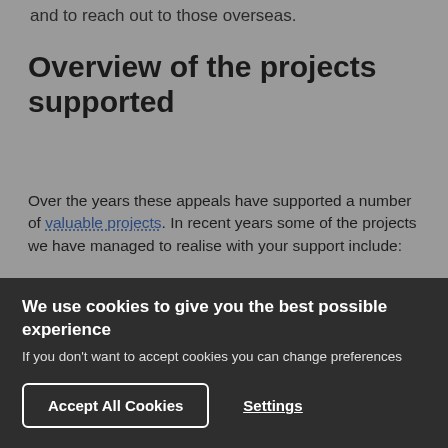and to reach out to those overseas.
Overview of the projects supported
Over the years these appeals have supported a number of valuable projects. In recent years some of the projects we have managed to realise with your support include:
The Sir Duncan Rice Library
We use cookies to give you the best possible experience
If you don't want to accept cookies you can change preferences
Accept All Cookies
Settings